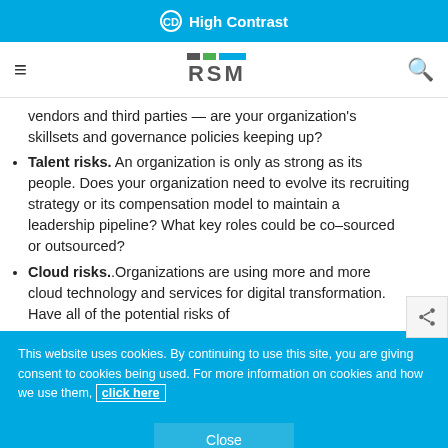High Contrast
[Figure (logo): RSM logo with colored bars and RSM text]
vendors and third parties — are your organization's skillsets and governance policies keeping up?
Talent risks. An organization is only as strong as its people. Does your organization need to evolve its recruiting strategy or its compensation model to maintain a leadership pipeline? What key roles could be co-sourced or outsourced?
Cloud risks. Organizations are using more and more cloud technology and services for digital transformation. Have all of the potential risks of
This website uses cookies. By continuing to use this site, you are giving consent to cookies being used. For more information on cookies and how we use them, click here